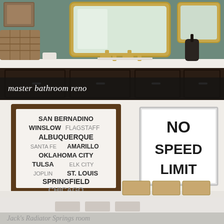[Figure (photo): Master bathroom with dark wood vanity, white countertop, gold faucets, a rectangular gold-framed mirror, green-painted walls, and a wicker basket on the left.]
master bathroom reno
[Figure (photo): Two wall signs side by side: left sign lists Route 66 cities (San Bernadino, Winslow, Flagstaff, Albuquerque, Santa Fe, Amarillo, Oklahoma City, Tulsa, Elk City, Joplin, St. Louis, Springfield, Chicago) in a dark wood frame; right sign reads 'NO SPEED LIMIT' in black on white.]
[Figure (photo): Partial view of a light-colored shelf or counter with wooden box containers, text overlay at bottom: Jack's Radiator Springs room]